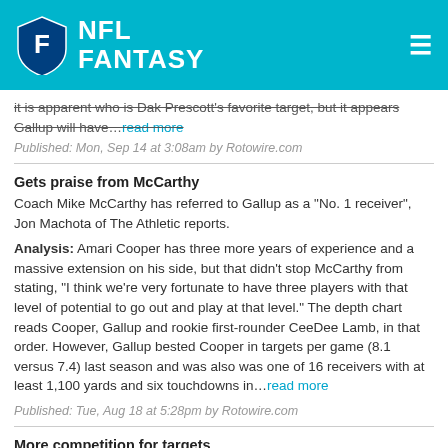NFL FANTASY
it is apparent who is Dak Prescott's favorite target, but it appears Gallup will have…read more
Published: Mon, Sep 14 at 3:08am by Rotowire.com
Gets praise from McCarthy
Coach Mike McCarthy has referred to Gallup as a "No. 1 receiver", Jon Machota of The Athletic reports.
Analysis: Amari Cooper has three more years of experience and a massive extension on his side, but that didn't stop McCarthy from stating, "I think we're very fortunate to have three players with that level of potential to go out and play at that level." The depth chart reads Cooper, Gallup and rookie first-rounder CeeDee Lamb, in that order. However, Gallup bested Cooper in targets per game (8.1 versus 7.4) last season and was also was one of 16 receivers with at least 1,100 yards and six touchdowns in…read more
Published: Tue, Aug 18 at 5:28pm by Rotowire.com
More competition for targets
Gallup will face competition for the No. 2 wide receiver spot in Dallas after the team selected CeeDee Lamb with the 17th overall pick in the draft.